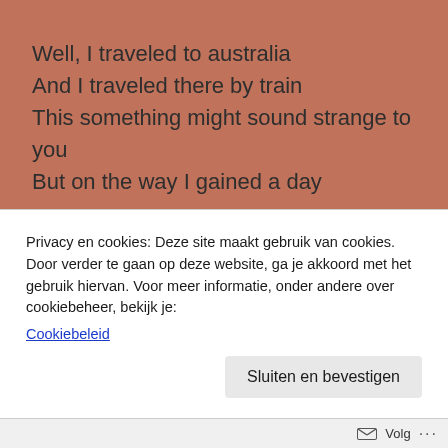Well, I traveled to australia
And I traveled there by train
This something might sound strange to you
But on the way I gained a day
And I wrote to tell my family
And I wrote to tell my friends
I arrived home, it was lost again
And this torture never ends
Cassy o'
Privacy en cookies: Deze site maakt gebruik van cookies. Door verder te gaan op deze website, ga je akkoord met het gebruik hiervan. Voor meer informatie, onder andere over cookiebeheer, bekijk je: Cookiebeleid
Sluiten en bevestigen